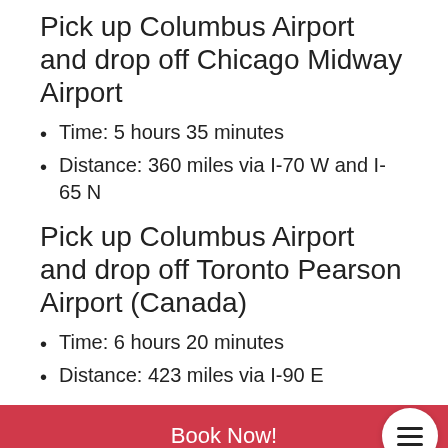Pick up Columbus Airport and drop off Chicago Midway Airport
Time: 5 hours 35 minutes
Distance: 360 miles via I-70 W and I-65 N
Pick up Columbus Airport and drop off Toronto Pearson Airport (Canada)
Time: 6 hours 20 minutes
Distance: 423 miles via I-90 E
Book Now!
Rent a Hybrid or Electric Car